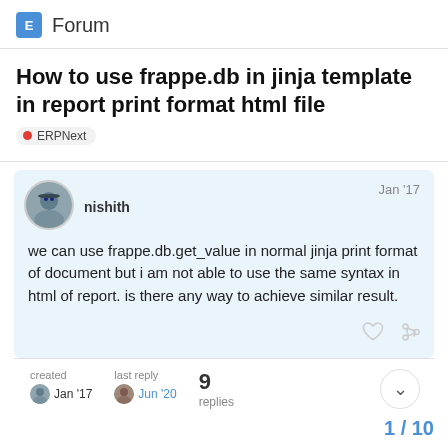E Forum
How to use frappe.db in jinja template in report print format html file
ERPNext
nishith  Jan '17
we can use frappe.db.get_value in normal jinja print format of document but i am not able to use the same syntax in html of report. is there any way to achieve similar result.
created Jan '17  last reply Jun '20  9 replies